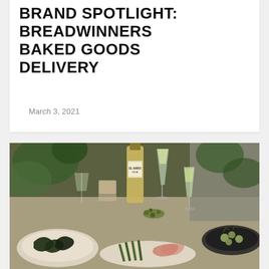BRAND SPOTLIGHT: BREADWINNERS BAKED GOODS DELIVERY
March 3, 2021
[Figure (photo): A restaurant dining table setting with wine glasses filled with white wine, a bottle labeled El Haro, small plates of food including olives, roasted peppers, asparagus, and other tapas dishes, with green plants in the background.]